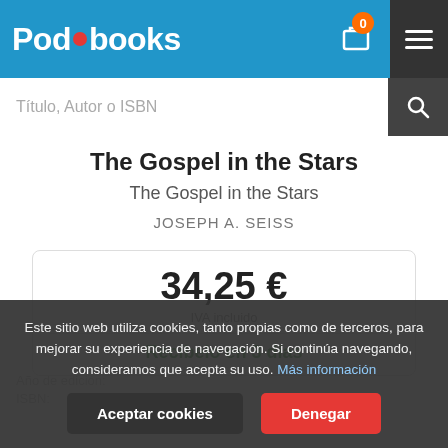Podibooks — navigation header with logo, cart (0), and hamburger menu
Título, Autor o ISBN
The Gospel in the Stars
The Gospel in the Stars
JOSEPH A. SEISS
34,25 €
IVA incluido
Recíbelo en 3 días
Este sitio web utiliza cookies, tanto propias como de terceros, para mejorar su experiencia de navegación. Si continúa navegando, consideramos que acepta su uso. Más información
Aceptar cookies
Denegar